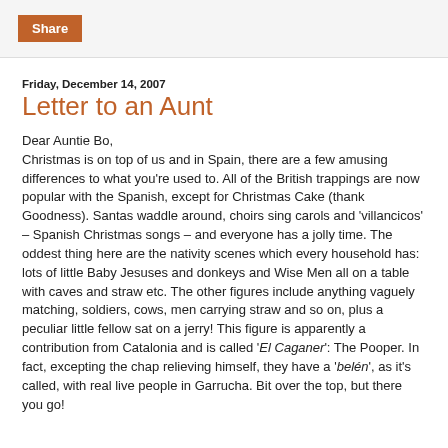[Figure (other): Share button in orange/brown color on a light gray top bar]
Friday, December 14, 2007
Letter to an Aunt
Dear Auntie Bo,
Christmas is on top of us and in Spain, there are a few amusing differences to what you're used to. All of the British trappings are now popular with the Spanish, except for Christmas Cake (thank Goodness). Santas waddle around, choirs sing carols and 'villancicos' – Spanish Christmas songs – and everyone has a jolly time. The oddest thing here are the nativity scenes which every household has: lots of little Baby Jesuses and donkeys and Wise Men all on a table with caves and straw etc. The other figures include anything vaguely matching, soldiers, cows, men carrying straw and so on, plus a peculiar little fellow sat on a jerry! This figure is apparently a contribution from Catalonia and is called 'El Caganer': The Pooper. In fact, excepting the chap relieving himself, they have a 'belén', as it's called, with real live people in Garrucha. Bit over the top, but there you go!